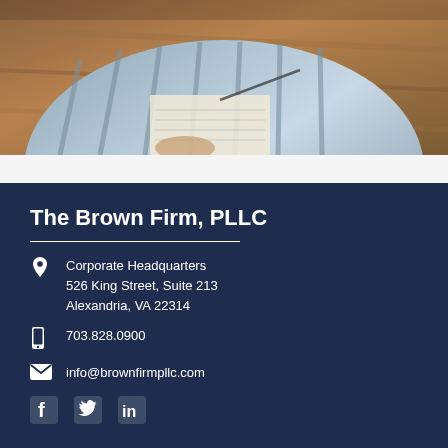[Figure (photo): Person reading or writing at a wooden desk, wearing a striped shirt, viewed from above/side angle]
The Brown Firm, PLLC
Corporate Headquarters
526 King Street, Suite 213
Alexandria, VA 22314
703.828.0900
info@brownfirmpllc.com
[Figure (illustration): Social media icons: Facebook, Twitter, LinkedIn]